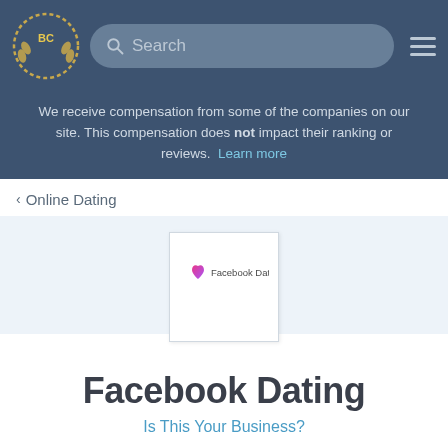BC [logo] Search [hamburger menu]
We receive compensation from some of the companies on our site. This compensation does not impact their ranking or reviews. Learn more
< Online Dating
[Figure (logo): Facebook Dating logo: heart icon and text 'Facebook Dating' on white card background]
Facebook Dating
Is This Your Business?
[Figure (other): 5 empty star rating icons]
0 User Reviews